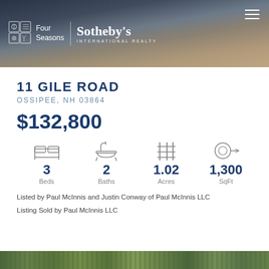[Figure (photo): Four Seasons Sotheby's International Realty header banner with lakeside dock and wicker chair at dusk]
11 GILE ROAD
OSSIPEE, NH 03864
$132,800
3 Beds  2 Baths  1.02 Acres  1,300 SqFt
Listed by Paul McInnis and Justin Conway of Paul McInnis LLC
Listing Sold by Paul McInnis LLC
[Figure (photo): Outdoor nature/foliage strip at bottom of page]